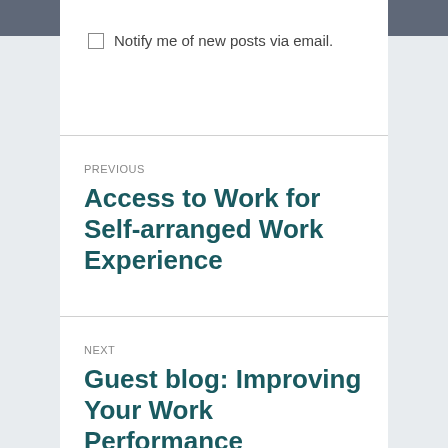via email.
BACK TO TOP
Notify me of new posts via email.
PREVIOUS
Access to Work for Self-arranged Work Experience
NEXT
Guest blog: Improving Your Work Performance